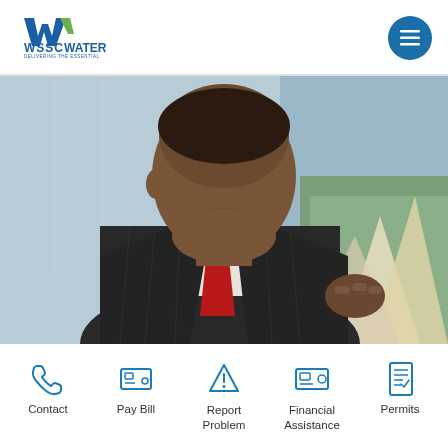[Figure (logo): WSSC Water - Delivering the Essential logo with W mark]
[Figure (photo): Professional photo of a man in a dark pinstripe suit with red tie, speaking or presenting, with blurred background]
[Figure (infographic): Website navigation bar with five icons and labels: Contact, Pay Bill, Report Problem, Financial Assistance, Permits]